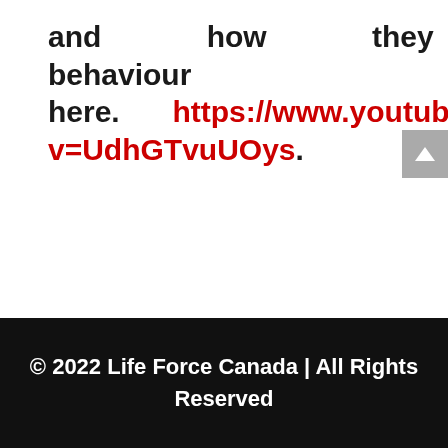and how they influence behaviour here. https://www.youtube.com/watch?v=UdhGTvuUOys.
© 2022 Life Force Canada | All Rights Reserved